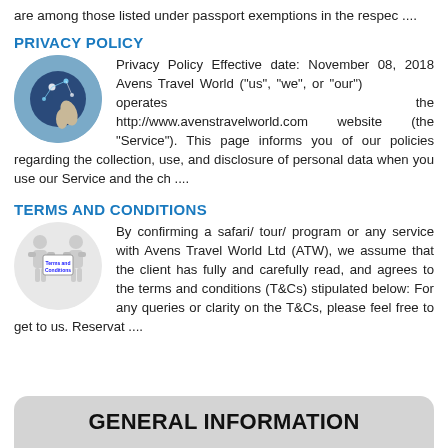are among those listed under passport exemptions in the respec ....
PRIVACY POLICY
Privacy Policy Effective date: November 08, 2018 Avens Travel World ("us", "we", or "our") operates the http://www.avenstravelworld.com website (the "Service"). This page informs you of our policies regarding the collection, use, and disclosure of personal data when you use our Service and the ch ....
TERMS AND CONDITIONS
By confirming a safari/ tour/ program or any service with Avens Travel World Ltd (ATW), we assume that the client has fully and carefully read, and agrees to the terms and conditions (T&Cs) stipulated below: For any queries or clarity on the T&Cs, please feel free to get to us. Reservat ....
GENERAL INFORMATION